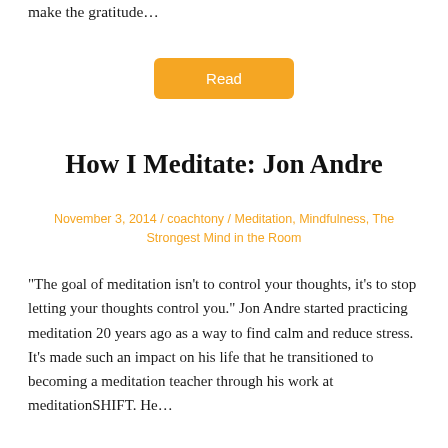make the gratitude…
[Figure (other): Orange 'Read' button]
How I Meditate: Jon Andre
November 3, 2014 / coachtony / Meditation, Mindfulness, The Strongest Mind in the Room
“The goal of meditation isn’t to control your thoughts, it’s to stop letting your thoughts control you.” Jon Andre started practicing meditation 20 years ago as a way to find calm and reduce stress. It’s made such an impact on his life that he transitioned to becoming a meditation teacher through his work at meditationSHIFT. He…